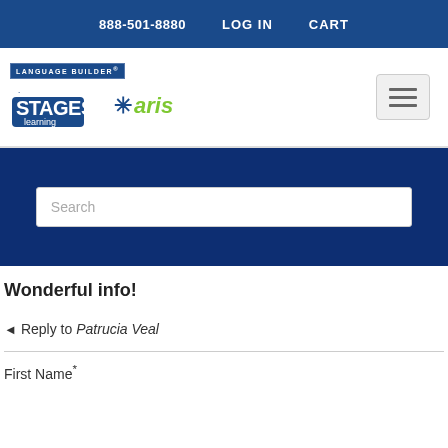888-501-8880   LOG IN   CART
[Figure (logo): Language Builder Stages Learning and Aris logo]
Search
Wonderful info!
Reply to Patrucia Veal
First Name*